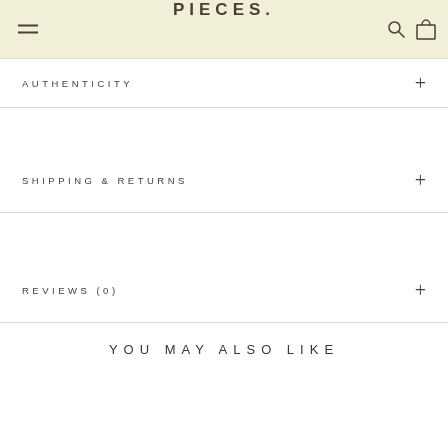PIECES.
AUTHENTICITY
SHIPPING & RETURNS
REVIEWS (0)
YOU MAY ALSO LIKE